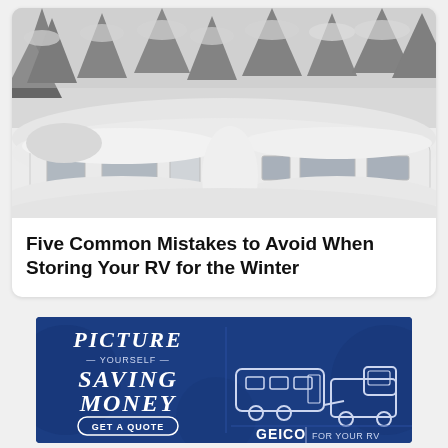[Figure (photo): Winter scene showing two white RV trailers/campers buried in deep snow, surrounded by snow-covered pine trees in the background. Black and white or muted winter photograph.]
Five Common Mistakes to Avoid When Storing Your RV for the Winter
[Figure (illustration): GEICO insurance advertisement banner on dark navy blue background. Left side shows decorative text: 'PICTURE YOURSELF SAVING MONEY' with a 'GET A QUOTE' button. Right side shows a line-art illustration of a truck towing an RV trailer, with 'GEICO | FOR YOUR RV' text beneath it.]